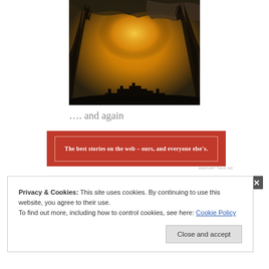[Figure (photo): Sunset or sunrise photo showing silhouettes of bare trees and a building roofline against a dramatic orange and dark cloudy sky.]
…. and again
[Figure (infographic): Red advertisement banner with white border and white text reading: The best stories on the web – ours, and everyone else's.]
REPORT THIS AD
Privacy & Cookies: This site uses cookies. By continuing to use this website, you agree to their use.
To find out more, including how to control cookies, see here: Cookie Policy
Close and accept